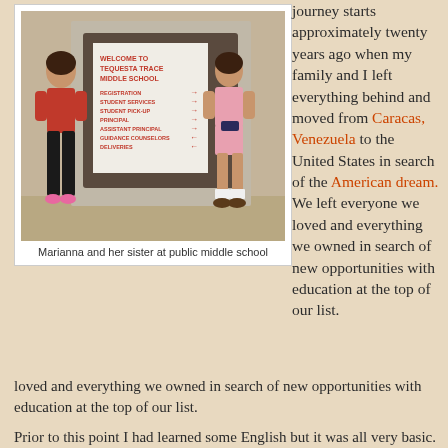[Figure (photo): Two girls standing in front of a Tequesta Trace Middle School welcome sign. One girl on the left wears a red shirt and black pants; another on the right wears a pink floral outfit with a fanny pack.]
Marianna and her sister at public middle school
journey starts approximately twenty years ago when my family and I left everything behind and moved from Caracas, Venezuela to the United States in search of the American dream. We left everyone we loved and everything we owned in search of new opportunities with education at the top of our list.
Prior to this point I had learned some English but it was all very basic. I had taken some after school classes in Venezuela and had some instruction here and there at my school but my knowledge was fairly limited. I could maybe